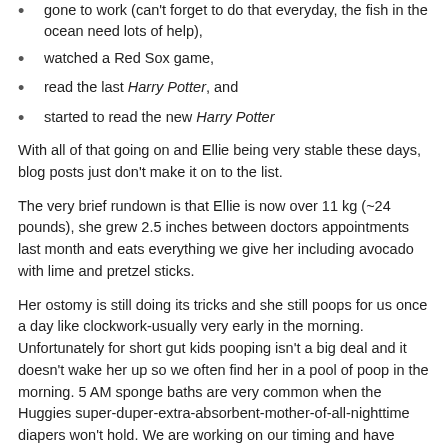gone to work (can't forget to do that everyday, the fish in the ocean need lots of help),
watched a Red Sox game,
read the last Harry Potter, and
started to read the new Harry Potter
With all of that going on and Ellie being very stable these days, blog posts just don't make it on to the list.
The very brief rundown is that Ellie is now over 11 kg (~24 pounds), she grew 2.5 inches between doctors appointments last month and eats everything we give her including avocado with lime and pretzel sticks.
Her ostomy is still doing its tricks and she still poops for us once a day like clockwork-usually very early in the morning. Unfortunately for short gut kids pooping isn't a big deal and it doesn't wake her up so we often find her in a pool of poop in the morning. 5 AM sponge baths are very common when the Huggies super-duper-extra-absorbent-mother-of-all-nighttime diapers won't hold. We are working on our timing and have been improving our performances to catch poops early.